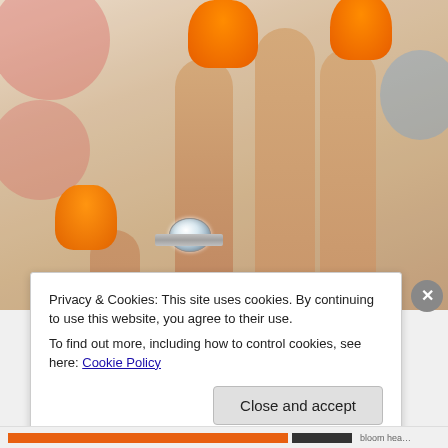[Figure (photo): A close-up photograph of a woman's hand with orange-painted fingernails resting on a floral fabric background. She is wearing a diamond solitaire engagement ring on her ring finger.]
Privacy & Cookies: This site uses cookies. By continuing to use this website, you agree to their use.
To find out more, including how to control cookies, see here: Cookie Policy
Close and accept